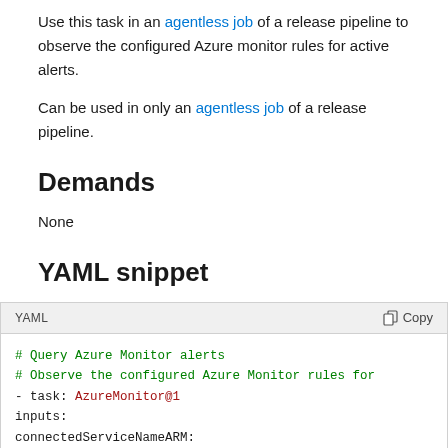Use this task in an agentless job of a release pipeline to observe the configured Azure monitor rules for active alerts.
Can be used in only an agentless job of a release pipeline.
Demands
None
YAML snippet
[Figure (screenshot): YAML code block showing Azure Monitor task snippet with syntax highlighting. Contains comments '# Query Azure Monitor alerts' and '# Observe the configured Azure Monitor rules for', then '- task: AzureMonitor@1', 'inputs:', 'connectedServiceNameARM:', 'resourceGroupName:', '#filterType: none # Options: resource, al']